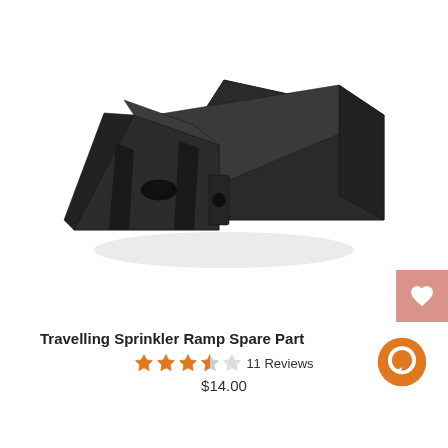[Figure (photo): A black plastic travelling sprinkler ramp spare part, viewed from a slight angle, showing a wedge/ramp shape with a slot and circular hole, on white background.]
Travelling Sprinkler Ramp Spare Part
3.5 out of 5 stars, 11 Reviews
$14.00